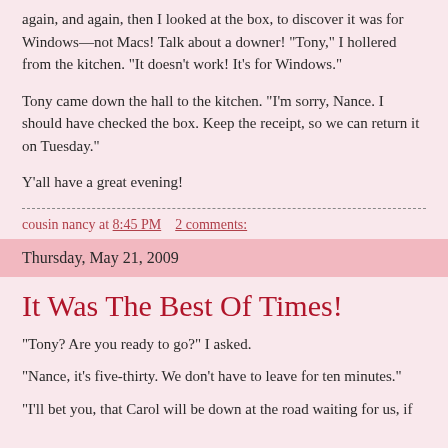again, and again, then I looked at the box, to discover it was for Windows—not Macs! Talk about a downer! "Tony," I hollered from the kitchen. "It doesn't work! It's for Windows."
Tony came down the hall to the kitchen. "I'm sorry, Nance. I should have checked the box. Keep the receipt, so we can return it on Tuesday."
Y'all have a great evening!
cousin nancy at 8:45 PM    2 comments:
Thursday, May 21, 2009
It Was The Best Of Times!
"Tony? Are you ready to go?" I asked.
"Nance, it's five-thirty. We don't have to leave for ten minutes."
"I'll bet you, that Carol will be down at the road waiting for us, if